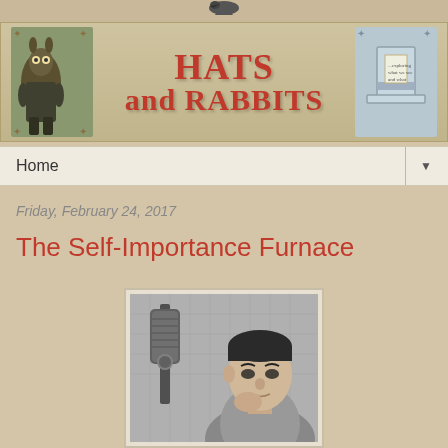[Figure (illustration): Hats and Rabbits blog banner with illustrated rabbit on left, red stylized text 'HATS and RABBITS' in center, and illustrated top hat on right, on a tan/parchment background]
Home ▼
Friday, February 24, 2017
The Self-Importance Furnace
[Figure (photo): Black and white photograph of a man in a suit sitting next to a large vintage microphone, resting his chin on his hand, looking thoughtful]